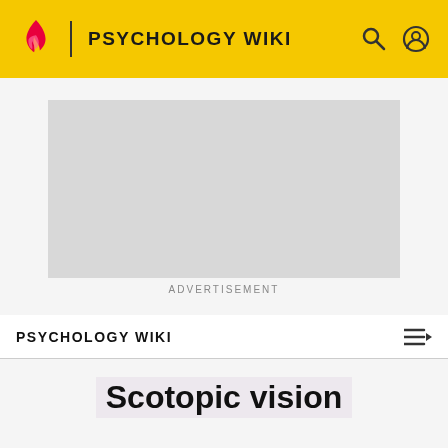PSYCHOLOGY WIKI
[Figure (other): Advertisement placeholder - grey rectangle]
ADVERTISEMENT
PSYCHOLOGY WIKI
Scotopic vision